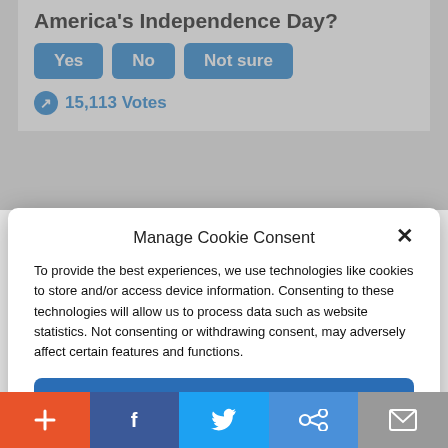America's Independence Day?
Yes  No  Not sure
15,113 Votes
Manage Cookie Consent
To provide the best experiences, we use technologies like cookies to store and/or access device information. Consenting to these technologies will allow us to process data such as website statistics. Not consenting or withdrawing consent, may adversely affect certain features and functions.
Accept
Cookie Policy  Privacy Policy
[Figure (screenshot): NYSE stock exchange floor image at bottom of page]
[Figure (infographic): Social sharing bar with icons: add (+), Facebook, Twitter, share (links), email]